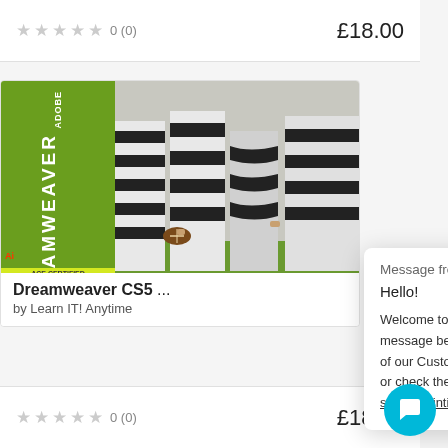★★★★★ 0 (0) £18.00
[Figure (screenshot): Product listing card showing Adobe Dreamweaver CS5 book cover with vertical green text, overlapping photo of referee/striped figures in black and white on a football field]
Dreamweaver CS5 ...
by Learn IT! Anytime
Message from Qintil
Hello!

Welcome to Qintil. Type a message below to speak with one of our Customer Support Agents or check the Qintil Helpdesk: https://help.qintil.com/en/
★★★★★ 0 (0) £18.00